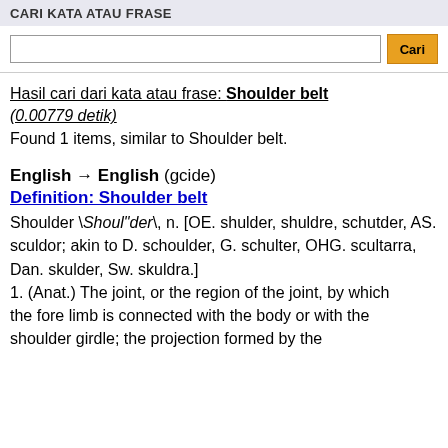CARI KATA ATAU FRASE
Hasil cari dari kata atau frase: Shoulder belt (0.00779 detik)
Found 1 items, similar to Shoulder belt.
English → English (gcide)
Definition: Shoulder belt
Shoulder \Shoul"der\, n. [OE. shulder, shuldre, schutder, AS.
sculdor; akin to D. schoulder, G. schulter, OHG. scultarra,
Dan. skulder, Sw. skuldra.]
1. (Anat.) The joint, or the region of the joint, by which
the fore limb is connected with the body or with the
shoulder girdle; the projection formed by the